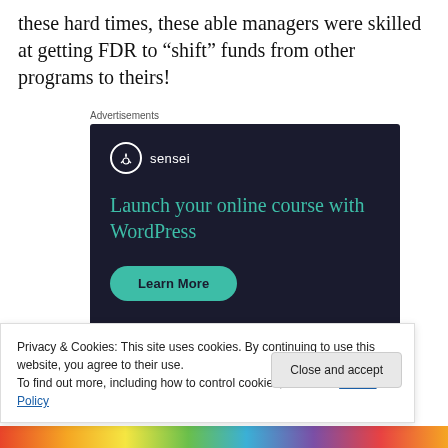these hard times, these able managers were skilled at getting FDR to “shift” funds from other programs to theirs!
Advertisements
[Figure (illustration): Sensei advertisement banner with dark navy background. Shows Sensei logo (tree icon in circle) with text 'Launch your online course with WordPress' in teal, and a 'Learn More' button in teal.]
Privacy & Cookies: This site uses cookies. By continuing to use this website, you agree to their use.
To find out more, including how to control cookies, see here: Cookie Policy